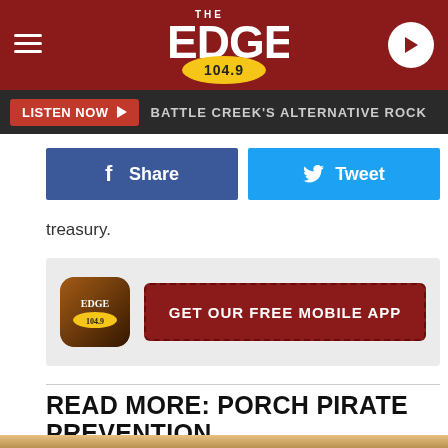THE EDGE 104.9
LISTEN NOW ▶  BATTLE CREEK'S ALTERNATIVE ROCK
[Figure (screenshot): Facebook Share button (blue) and Twitter Tweet button (light blue), side by side]
treasury.
[Figure (screenshot): GET OUR FREE MOBILE APP promo box with Edge 104.9 app icon and dark red button]
READ MORE: PORCH PIRATE PREVENTION
[Figure (photo): Bottom portion of a photo showing a person, cropped at page edge]